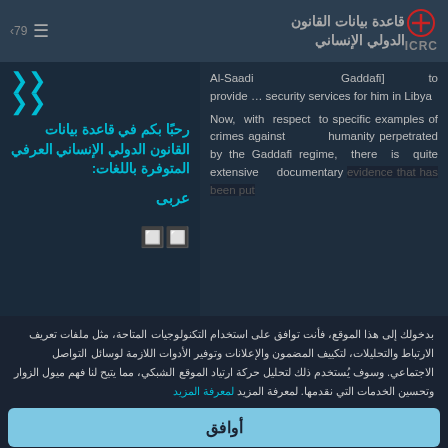قاعدة بيانات القانون الدولي الإنساني | ICRC
Al-Saadi Gaddafi] to provide … security services for him in Libya
رحبًا بكم في قاعدة بيانات القانون الدولي الإنساني العرفي المتوفرة باللغات:
عربى
Now, with respect to specific examples of crimes against humanity perpetrated by the Gaddafi regime, there is quite extensive documentary evidence that has been put
بدخولك إلى هذا الموقع، فأنت توافق على استخدام التكنولوجيات المتاحة، مثل ملفات تعريف الارتباط والتحليلات، لتكييف المضمون والإعلانات وتوفير الأدوات اللازمة لوسائل التواصل الاجتماعي. وسوف يُستخدم ذلك لتحليل حركة ارتياد الموقع الشبكي، مما يتيح لنا فهم ميول الزوار وتحسين الخدمات التي نقدمها. لمعرفة المزيد لمعرفة المزيد
أوافق